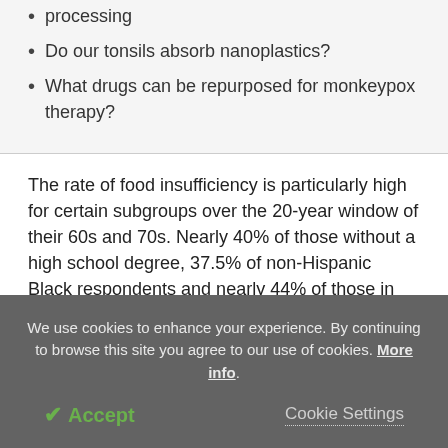processing
Do our tonsils absorb nanoplastics?
What drugs can be repurposed for monkeypox therapy?
The rate of food insufficiency is particularly high for certain subgroups over the 20-year window of their 60s and 70s. Nearly 40% of those without a high school degree, 37.5% of non-Hispanic Black respondents and nearly 44% of those in poor health at baseline will experience food insufficiency during that time period.
We use cookies to enhance your experience. By continuing to browse this site you agree to our use of cookies. More info.
✓ Accept
Cookie Settings